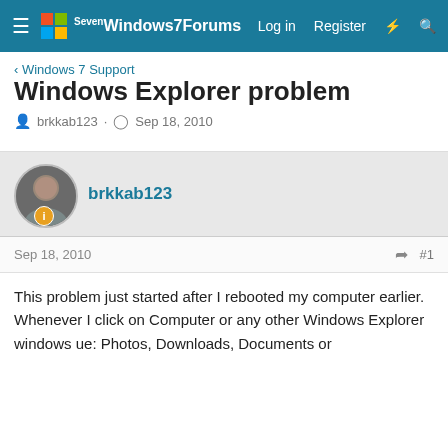Windows 7 Forums | Log in | Register
< Windows 7 Support
Windows Explorer problem
brkkab123 · Sep 18, 2010
brkkab123
Sep 18, 2010  #1
This problem just started after I rebooted my computer earlier. Whenever I click on Computer or any other Windows Explorer windows ue: Photos, Downloads, Documents or